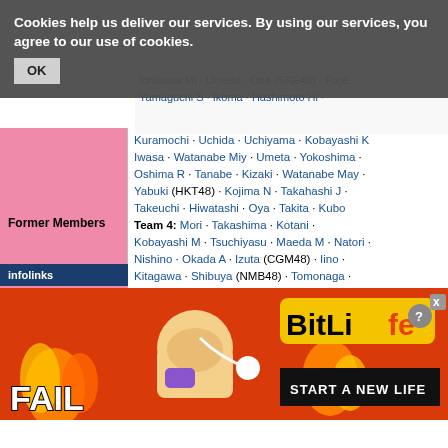Cookies help us deliver our services. By using our services, you agree to our use of cookies. OK
Ichikawa Mi · Umeda · Oba (SKE48) · Fujie · Yamaguchi S · Ikoma · Hashimoto Hi · Kuramochi · Uchida · Uchiyama · Kobayashi K · Iwasa · Watanabe Miy · Umeta · Yokoshima · Oshima R · Tanabe · Kizaki · Watanabe May · Yabuki (HKT48) · Kojima N · Takahashi J · Takeuchi · Hiwatashi · Oya · Takita · Kubo Team 4: Mori · Takashima · Kotani · Kobayashi M · Tsuchiyasu · Maeda M · Natori · Nishino · Okada A · Izuta (CGM48) · Iino · Kitagawa · Shibuya (NMB48) · Tomonaga · Okawa · Kawamoto · Tatsuya · Honma · Kuramoto Team 8: Okubora · Moriwaki · Iwasaki · Fujimura · Yamamoto A · Kita · Kondo · Yoshine · Fukuchi · Tani · Hamamatsu · Abe Me · Moug · Hirose · Hayasaka · Shimoaoki · Yaguchi ·
Former Members
[Figure (screenshot): Advertisement banner for BitLife game showing FAIL text, cartoon character, flames, and START A NEW LIFE text]
infolinks